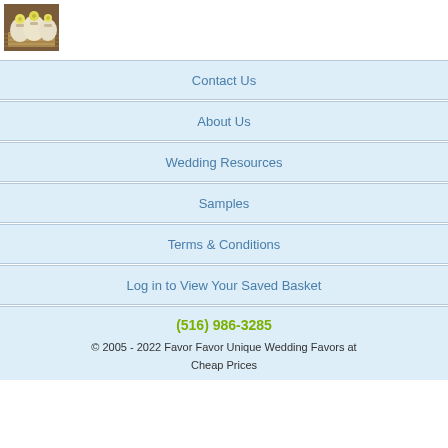[Figure (photo): Photo of wedding favor items - white fabric bundles with yellow flower decorations on a woven mat surface]
Contact Us
About Us
Wedding Resources
Samples
Terms & Conditions
Log in to View Your Saved Basket
(516) 986-3285
© 2005 - 2022 Favor Favor Unique Wedding Favors at Cheap Prices